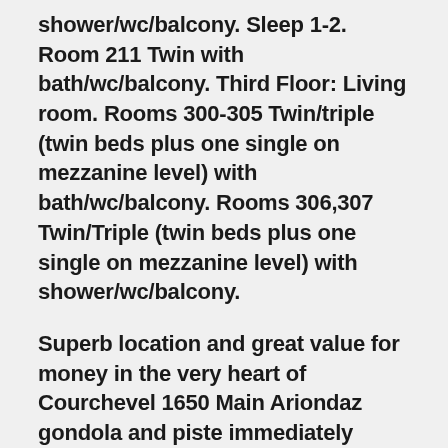shower/wc/balcony. Sleep 1-2. Room 211 Twin with bath/wc/balcony. Third Floor: Living room. Rooms 300-305 Twin/triple (twin beds plus one single on mezzanine level) with bath/wc/balcony. Rooms 306,307 Twin/Triple (twin beds plus one single on mezzanine level) with shower/wc/balcony.
Superb location and great value for money in the very heart of Courchevel 1650 Main Ariondaz gondola and piste immediately opposite Perfect chalet for skiers who want a quick start to their ski day Ideal for groups of friends of varying ability Superb views from dining-room and many bedrooms Separate lounge with TV/DVD and dining room Choice of bedrooms and spacious suites, all with en suite facilities and most with balcony Free Wifi Buffet breakfast with hot option and afternoon tea/coffee and cake 4-course dinner including an Àritif choice of